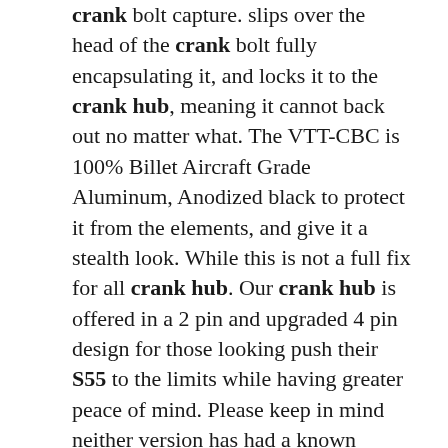crank bolt capture. slips over the head of the crank bolt fully encapsulating it, and locks it to the crank hub, meaning it cannot back out no matter what. The VTT-CBC is 100% Billet Aircraft Grade Aluminum, Anodized black to protect it from the elements, and give it a stealth look. While this is not a full fix for all crank hub. Our crank hub is offered in a 2 pin and upgraded 4 pin design for those looking push their S55 to the limits while having greater peace of mind. Please keep in mind neither version has had a known failure with 300+ vehicles on the road today and counting. Our crank hub has also been tested up to 1000whp without issue. The keyed crank hub upgrade is a replacement of your stock crank hub unit with a unit that has four "keys" or "pins" for which 4 holes are drilled into the S55 crankshaft so that upon installation of the